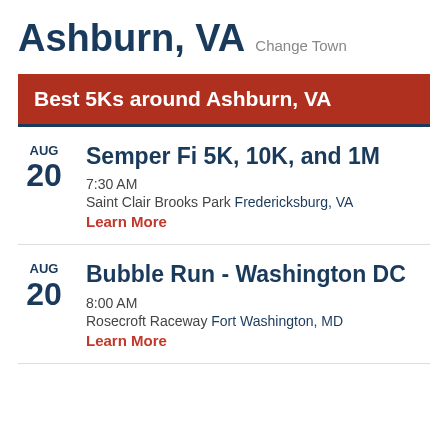Ashburn, VA Change Town
Best 5Ks around Ashburn, VA
AUG 20 Semper Fi 5K, 10K, and 1M
7:30 AM
Saint Clair Brooks Park Fredericksburg, VA
Learn More
AUG 20 Bubble Run - Washington DC
8:00 AM
Rosecroft Raceway Fort Washington, MD
Learn More